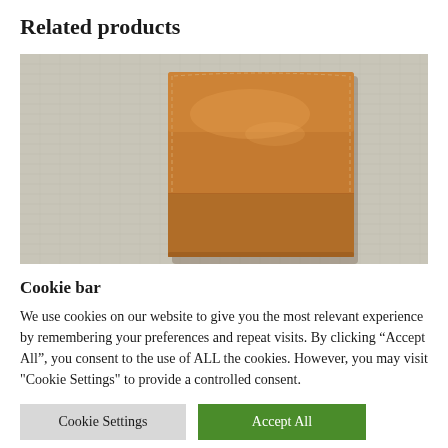Related products
[Figure (photo): A tan/caramel leather bifold wallet placed on a grey linen fabric background, viewed from above.]
Cookie bar
We use cookies on our website to give you the most relevant experience by remembering your preferences and repeat visits. By clicking “Accept All”, you consent to the use of ALL the cookies. However, you may visit "Cookie Settings" to provide a controlled consent.